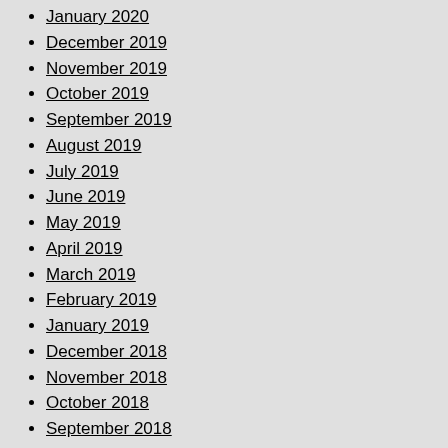January 2020
December 2019
November 2019
October 2019
September 2019
August 2019
July 2019
June 2019
May 2019
April 2019
March 2019
February 2019
January 2019
December 2018
November 2018
October 2018
September 2018
August 2018
July 2018
June 2018
May 2018
April 2018
March 2018
February 2018
January 2018